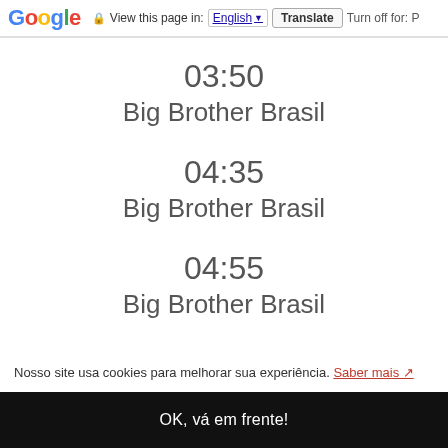Google  View this page in: English ▼  Translate  Turn off for: P
03:50
Big Brother Brasil
04:35
Big Brother Brasil
04:55
Big Brother Brasil
Nosso site usa cookies para melhorar sua experiência. Saber mais ↗
OK, vá em frente!